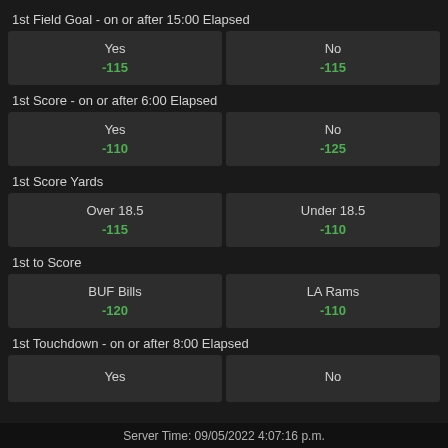1st Field Goal - on or after 15:00 Elapsed
| Yes | No |
| --- | --- |
| -115 | -115 |
1st Score - on or after 6:00 Elapsed
| Yes | No |
| --- | --- |
| -110 | -125 |
1st Score Yards
| Over 18.5 | Under 18.5 |
| --- | --- |
| -115 | -110 |
1st to Score
| BUF Bills | LA Rams |
| --- | --- |
| -120 | -110 |
1st Touchdown - on or after 8:00 Elapsed
| Yes | No |
| --- | --- |
|  |
Server Time: 09/05/2022 4:07:16 p.m.